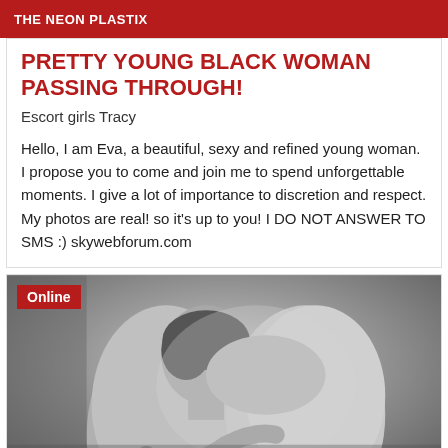THE NEON PLASTIX
PRETTY YOUNG BLACK WOMAN PASSING THROUGH!
Escort girls Tracy
Hello, I am Eva, a beautiful, sexy and refined young woman. I propose you to come and join me to spend unforgettable moments. I give a lot of importance to discretion and respect. My photos are real! so it's up to you! I DO NOT ANSWER TO SMS :) skywebforum.com
[Figure (photo): Black and white photo of two people in an intimate embrace, with an 'Online' badge overlay in the top left corner]